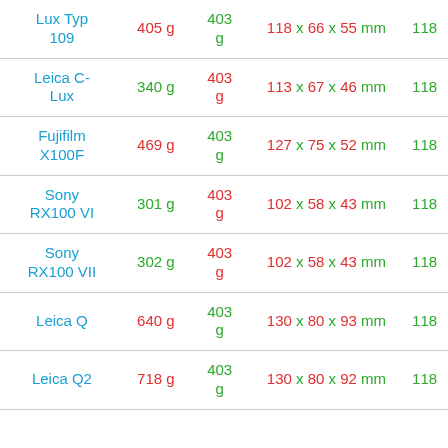| Name | Weight1 | Weight2 | Dimensions | Value |
| --- | --- | --- | --- | --- |
| Lux Typ 109 | 405 g | 403 g | 118 x 66 x 55 mm | 118 |
| Leica C-Lux | 340 g | 403 g | 113 x 67 x 46 mm | 118 |
| Fujifilm X100F | 469 g | 403 g | 127 x 75 x 52 mm | 118 |
| Sony RX100 VI | 301 g | 403 g | 102 x 58 x 43 mm | 118 |
| Sony RX100 VII | 302 g | 403 g | 102 x 58 x 43 mm | 118 |
| Leica Q | 640 g | 403 g | 130 x 80 x 93 mm | 118 |
| Leica Q2 | 718 g | 403 g | 130 x 80 x 92 mm | 118 |